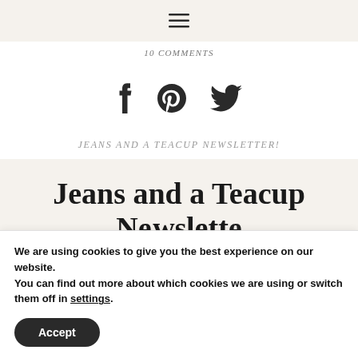≡ (hamburger menu icon)
10 COMMENTS
[Figure (illustration): Social sharing icons: Facebook (f), Pinterest (p), Twitter (bird)]
JEANS AND A TEACUP NEWSLETTER!
Jeans and a Teacup Newsletter
We are using cookies to give you the best experience on our website.
You can find out more about which cookies we are using or switch them off in settings.
Accept